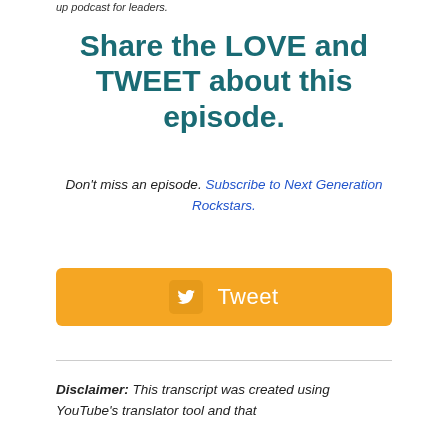up podcast for leaders.
Share the LOVE and TWEET about this episode.
Don't miss an episode. Subscribe to Next Generation Rockstars.
[Figure (other): Yellow Tweet button with Twitter bird icon]
Disclaimer: This transcript was created using YouTube's translator tool and that